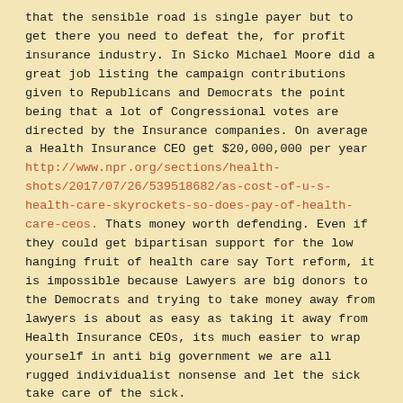that the sensible road is single payer but to get there you need to defeat the, for profit insurance industry. In Sicko Michael Moore did a great job listing the campaign contributions given to Republicans and Democrats the point being that a lot of Congressional votes are directed by the Insurance companies. On average a Health Insurance CEO get $20,000,000 per year http://www.npr.org/sections/health-shots/2017/07/26/539518682/as-cost-of-u-s-health-care-skyrockets-so-does-pay-of-health-care-ceos. Thats money worth defending. Even if they could get bipartisan support for the low hanging fruit of health care say Tort reform, it is impossible because Lawyers are big donors to the Democrats and trying to take money away from lawyers is about as easy as taking it away from Health Insurance CEOs, its much easier to wrap yourself in anti big government we are all rugged individualist nonsense and let the sick take care of the sick.
Like
Reply
Steve Owens says:
July 29, 2017 at 1:41 pm
Health Insurance companies didn't pay this sort of money so that Trump could